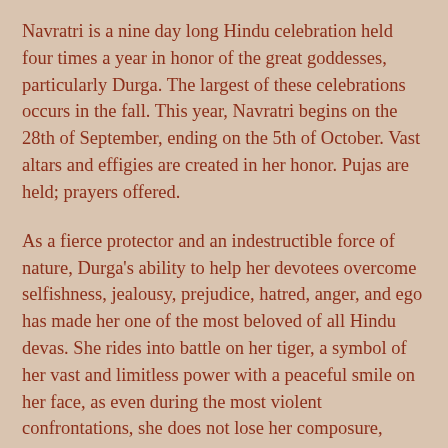Navratri is a nine day long Hindu celebration held four times a year in honor of the great goddesses, particularly Durga. The largest of these celebrations occurs in the fall. This year, Navratri begins on the 28th of September, ending on the 5th of October. Vast altars and effigies are created in her honor. Pujas are held; prayers offered.
As a fierce protector and an indestructible force of nature, Durga's ability to help her devotees overcome selfishness, jealousy, prejudice, hatred, anger, and ego has made her one of the most beloved of all Hindu devas. She rides into battle on her tiger, a symbol of her vast and limitless power with a peaceful smile on her face, as even during the most violent confrontations, she does not lose her composure, compassion or her ability to laugh at a good joke.
Celebrate Navratri and honor Durga with this perfume created specially for Durga in a blessed